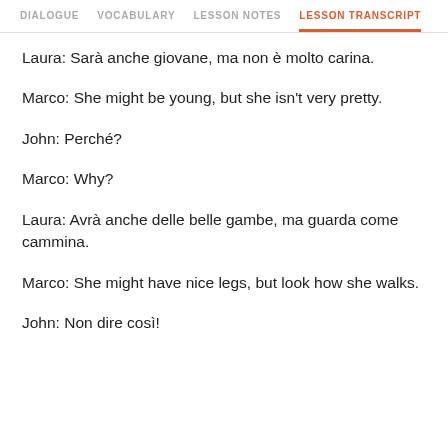DIALOGUE   VOCABULARY   LESSON NOTES   LESSON TRANSCRIPT
Laura: Sarà anche giovane, ma non è molto carina.
Marco: She might be young, but she isn't very pretty.
John: Perché?
Marco: Why?
Laura: Avrà anche delle belle gambe, ma guarda come cammina.
Marco: She might have nice legs, but look how she walks.
John: Non dire così!